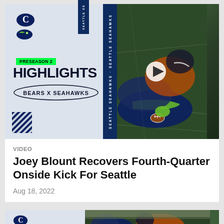[Figure (screenshot): NFL video thumbnail showing Bears vs Seahawks Preseason 2 Highlights card. Left half is light gray with Chicago Bears C logo, Seattle Seahawks logo, green PRESEASON 2 badge, HIGHLIGHTS text in bold, BEARS X SEAHAWKS in oval. Right half shows football action photo of players on field recovering a fumble/onside kick. A vertical navy stripe with SEATTLE SEAHAWKS text divides the panels. A play button triangle is centered.]
VIDEO
Joey Blount Recovers Fourth-Quarter Onside Kick For Seattle
Aug 18, 2022
[Figure (screenshot): Partial second NFL video thumbnail showing Chicago Bears and Seattle Seahawks logos on gray left panel, vertical navy SEATTLE SE stripe, and football action photo on the right showing players in Seahawks uniforms.]